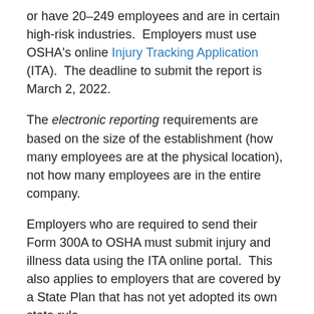or have 20–249 employees and are in certain high-risk industries.  Employers must use OSHA's online Injury Tracking Application (ITA).  The deadline to submit the report is March 2, 2022.
The electronic reporting requirements are based on the size of the establishment (how many employees are at the physical location), not how many employees are in the entire company.
Employers who are required to send their Form 300A to OSHA must submit injury and illness data using the ITA online portal.  This also applies to employers that are covered by a State Plan that has not yet adopted its own state rule.
Employers who meet any of the following criteria DO NOT have to send their information to OSHA: